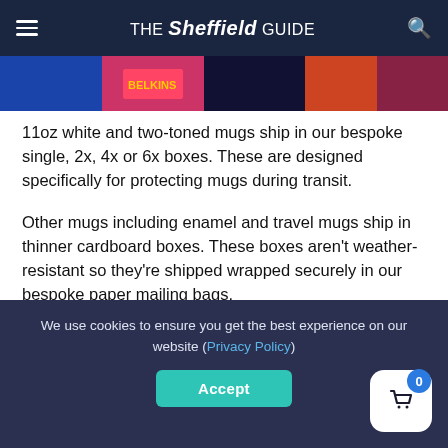THE Sheffield GUIDE
[Figure (photo): Colorful image strip showing merchandise/product photos]
11oz white and two-toned mugs ship in our bespoke single, 2x, 4x or 6x boxes. These are designed specifically for protecting mugs during transit.
Other mugs including enamel and travel mugs ship in thinner cardboard boxes. These boxes aren't weather-resistant so they're shipped wrapped securely in our bespoke paper mailing bags.
Poster tubes
They're a triangular tube of weather-proof reinforced cardboard. This shape allows for easier transportation and
We use cookies to ensure you get the best experience on our website (Privacy Policy)